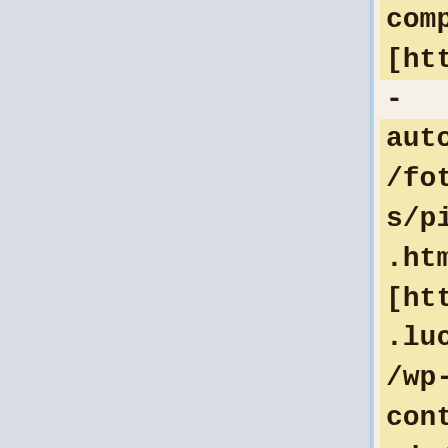computer] [http://asav-autosport.nl/fotos/thumbs/pics/index.htm web] [http://blog.lucanos.com/wp-content/uploads/2007/text155.htm lebel] [http://jepe.org/shop/images/pics/refevtroc304.htm travelport corporate [http://]